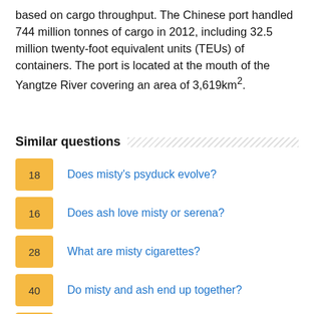based on cargo throughput. The Chinese port handled 744 million tonnes of cargo in 2012, including 32.5 million twenty-foot equivalent units (TEUs) of containers. The port is located at the mouth of the Yangtze River covering an area of 3,619km².
Similar questions
18  Does misty's psyduck evolve?
16  Does ash love misty or serena?
28  What are misty cigarettes?
40  Do misty and ash end up together?
18  Are misty and brock together?
24  Whats a misty freeze?